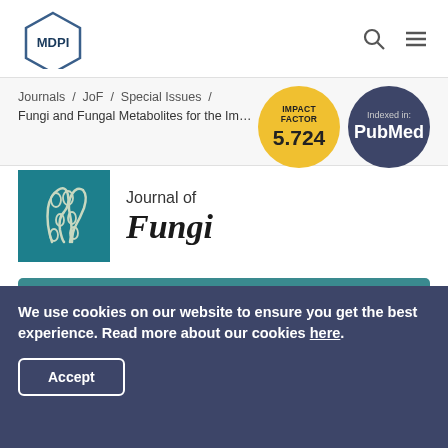[Figure (logo): MDPI logo — hexagonal icon with 'MDPI' text]
Journals / JoF / Special Issues / Fungi and Fungal Metabolites for the Im...
[Figure (infographic): Impact Factor badge: 5.724 on gold circle]
[Figure (infographic): Indexed in: PubMed on dark blue circle]
[Figure (logo): Journal of Fungi logo — teal square with fungal illustration, text 'Journal of Fungi']
Submit to JoF
Review for JoF
We use cookies on our website to ensure you get the best experience. Read more about our cookies here.
Accept